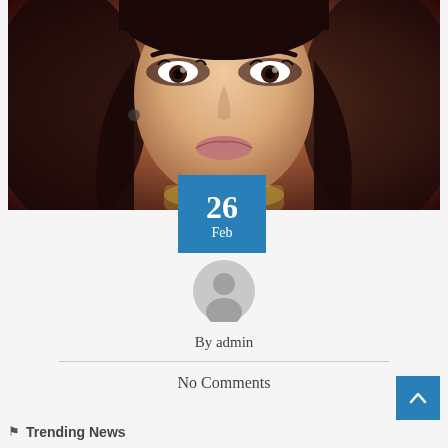[Figure (photo): Close-up portrait photo of a woman with heavy eye makeup, dark hair, and a decorative necklace, against a warm dark background]
26
Feb
[Figure (illustration): Generic user avatar icon — grey circle with silhouette of a person]
By admin
No Comments
Trending News